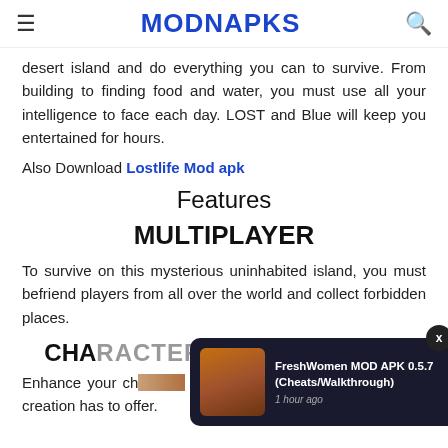MODNAPKS
desert island and do everything you can to survive. From building to finding food and water, you must use all your intelligence to face each day. LOST and Blue will keep you entertained for hours.
Also Download Lostlife Mod apk
Features
MULTIPLAYER
To survive on this mysterious uninhabited island, you must befriend players from all over the world and collect forbidden places.
CHARACTER DEVELOPMENT
Enhance your character to the fullest the joy that a mother creation has to offer.
[Figure (screenshot): Ad overlay showing FreshWomen MOD APK 0.5.7 (Cheats/Walkthrough) with a woman image and close button]